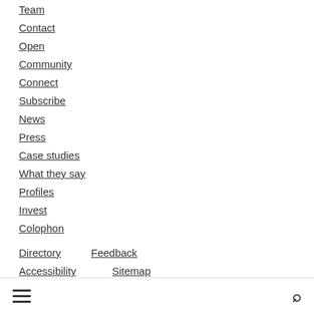Team
Contact
Open
Community
Connect
Subscribe
News
Press
Case studies
What they say
Profiles
Invest
Colophon
Directory
Feedback
Accessibility
Sitemap
Government
Solutions (partially visible)